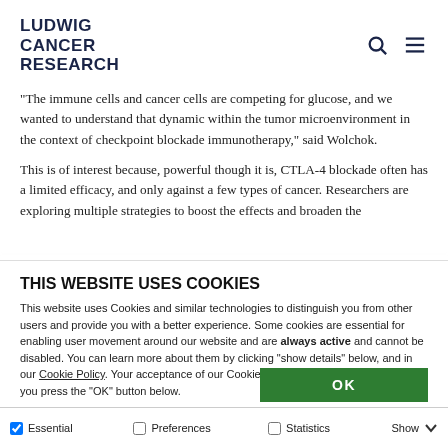LUDWIG CANCER RESEARCH
"The immune cells and cancer cells are competing for glucose, and we wanted to understand that dynamic within the tumor microenvironment in the context of checkpoint blockade immunotherapy," said Wolchok.
This is of interest because, powerful though it is, CTLA-4 blockade often has a limited efficacy, and only against a few types of cancer. Researchers are exploring multiple strategies to boost the effects and broaden the
THIS WEBSITE USES COOKIES
This website uses Cookies and similar technologies to distinguish you from other users and provide you with a better experience. Some cookies are essential for enabling user movement around our website and are always active and cannot be disabled. You can learn more about them by clicking "show details" below, and in our Cookie Policy. Your acceptance of our Cookie Policy is deemed to occur when you press the "OK" button below.